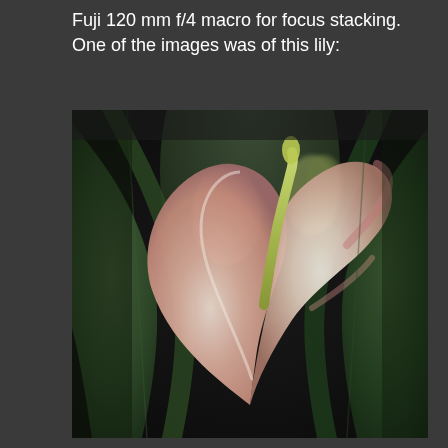Fuji 120 mm f/4 macro for focus stacking. One of the images was of this lily:
[Figure (photo): Close-up macro photograph of a calla lily with pink and white petals surrounded by dark green leaves against a dark background]